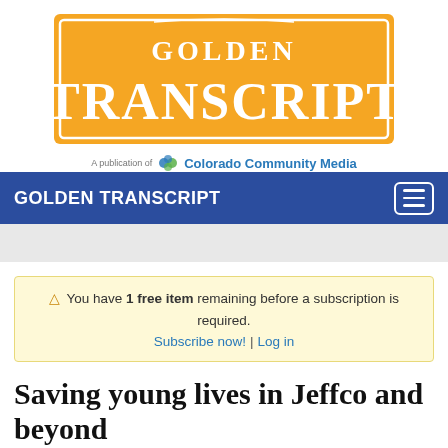[Figure (logo): Golden Transcript newspaper logo — orange/gold background with white serif text reading GOLDEN TRANSCRIPT in a banner style]
A publication of Colorado Community Media
GOLDEN TRANSCRIPT
⚠ You have 1 free item remaining before a subscription is required. Subscribe now! | Log in
Saving young lives in Jeffco and beyond
Nonprofit tackles state's leading cause of death for youth, providing mental health services to those in